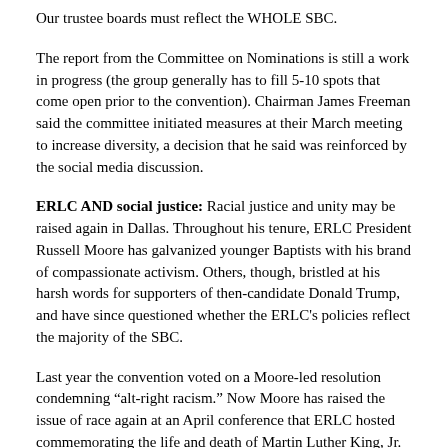Our trustee boards must reflect the WHOLE SBC.
The report from the Committee on Nominations is still a work in progress (the group generally has to fill 5-10 spots that come open prior to the convention). Chairman James Freeman said the committee initiated measures at their March meeting to increase diversity, a decision that he said was reinforced by the social media discussion.
ERLC AND social justice: Racial justice and unity may be raised again in Dallas. Throughout his tenure, ERLC President Russell Moore has galvanized younger Baptists with his brand of compassionate activism. Others, though, bristled at his harsh words for supporters of then-candidate Donald Trump, and have since questioned whether the ERLC's policies reflect the majority of the SBC.
Last year the convention voted on a Moore-led resolution condemning “alt-right racism.” Now Moore has raised the issue of race again at an April conference that ERLC hosted commemorating the life and death of Martin Luther King, Jr. The ERLC’s report to the convention is, like last year, near the end of the meeting agenda. Moore will be among the last leaders heard from before Baptists leave Texas.